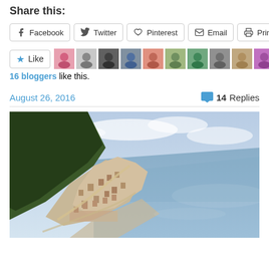Share this:
Facebook | Twitter | Pinterest | Email | Print
Like | 16 bloggers like this.
August 26, 2016   💬 14 Replies
[Figure (photo): Aerial coastal view of a town along a steep hillside meeting the sea, with calm blue-grey water on the right and forested mountains on the left.]